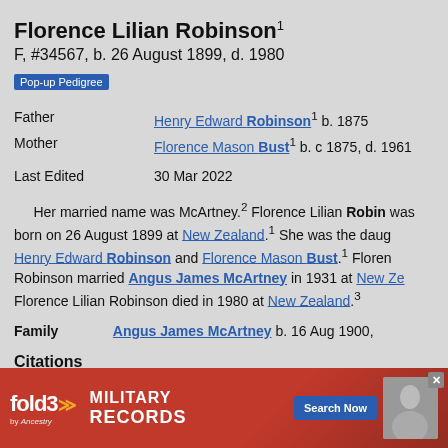Florence Lilian Robinson¹
F, #34567, b. 26 August 1899, d. 1980
Pop-up Pedigree
| Father | Henry Edward Robinson¹ b. 1875 |
| Mother | Florence Mason Bust¹ b. c 1875, d. 1961 |
| Last Edited | 30 Mar 2022 |
Her married name was McArtney.² Florence Lilian Robinson was born on 26 August 1899 at New Zealand.¹ She was the daughter of Henry Edward Robinson and Florence Mason Bust.¹ Florence Lilian Robinson married Angus James McArtney in 1931 at New Zealand. Florence Lilian Robinson died in 1980 at New Zealand.³
Family   Angus James McArtney b. 16 Aug 1900,
Citations
[S016] Various, BG MG DG New Zealand (New Zealand: New Zealand Government...) Florence Lilian Robinson McArtney...
[Figure (other): Fold3 Military Records advertisement banner with close button and soldier photo]